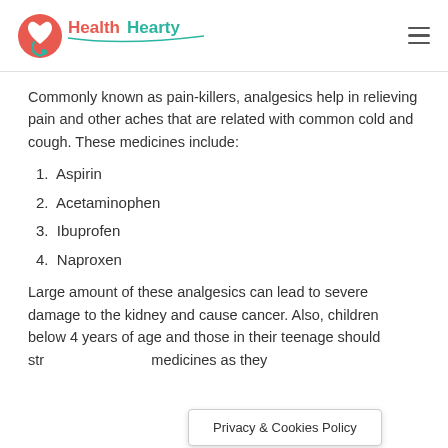HealthHearty
Commonly known as pain-killers, analgesics help in relieving pain and other aches that are related with common cold and cough. These medicines include:
1. Aspirin
2. Acetaminophen
3. Ibuprofen
4. Naproxen
Large amount of these analgesics can lead to severe damage to the kidney and cause cancer. Also, children below 4 years of age and those in their teenage should str... medicines as they
Privacy & Cookies Policy